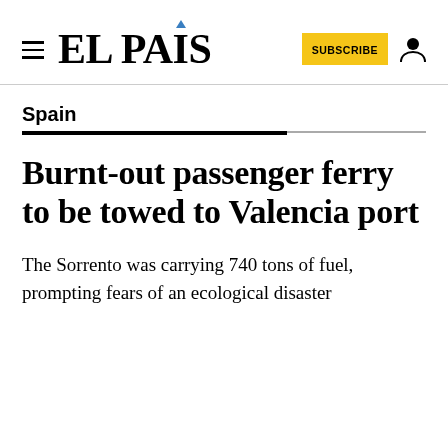EL PAÍS
Spain
Burnt-out passenger ferry to be towed to Valencia port
The Sorrento was carrying 740 tons of fuel, prompting fears of an ecological disaster